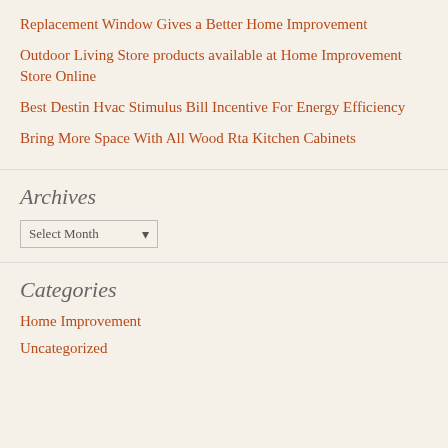Replacement Window Gives a Better Home Improvement
Outdoor Living Store products available at Home Improvement Store Online
Best Destin Hvac Stimulus Bill Incentive For Energy Efficiency
Bring More Space With All Wood Rta Kitchen Cabinets
Archives
Select Month
Categories
Home Improvement
Uncategorized